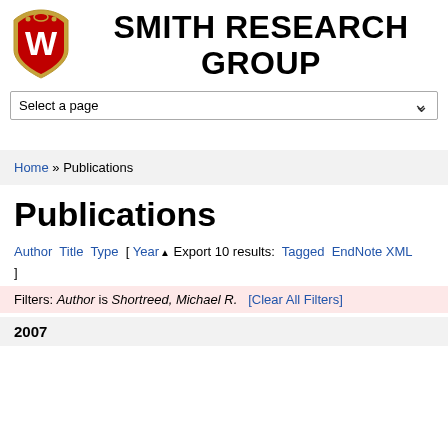SMITH RESEARCH GROUP
Select a page
Home » Publications
Publications
Author Title Type [ Year ▲ Export 10 results: Tagged EndNote XML ]
Filters: Author is Shortreed, Michael R. [Clear All Filters]
2007